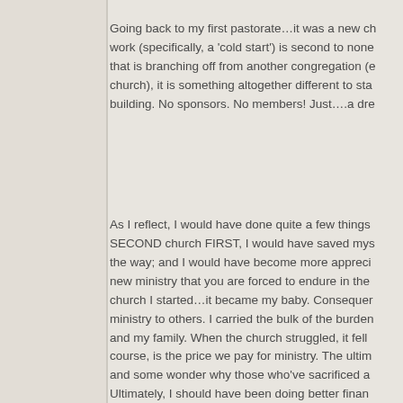Going back to my first pastorate…it was a new church work (specifically, a 'cold start') is second to none that is branching off from another congregation (e church), it is something altogether different to sta building. No sponsors. No members! Just….a dre
As I reflect, I would have done quite a few things SECOND church FIRST, I would have saved mys the way; and I would have become more appreci new ministry that you are forced to endure in the church I started…it became my baby. Consequen ministry to others. I carried the bulk of the burden and my family. When the church struggled, it fell course, is the price we pay for ministry. The ultim and some wonder why those who've sacrificed a Ultimately, I should have been doing better finan